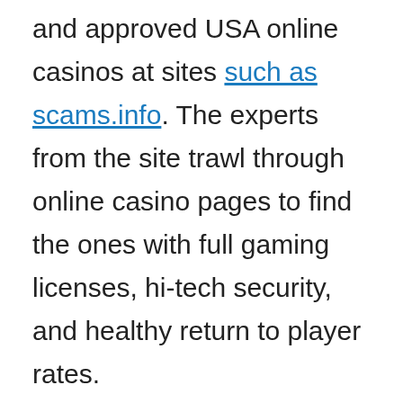and approved USA online casinos at sites such as scams.info. The experts from the site trawl through online casino pages to find the ones with full gaming licenses, hi-tech security, and healthy return to player rates.
By using an aggregator like this, players can get straight to playing the games without having to assess the site's trustworthiness themselves.
Comparison sites can also be useful in various other industries when you quickly want to find a